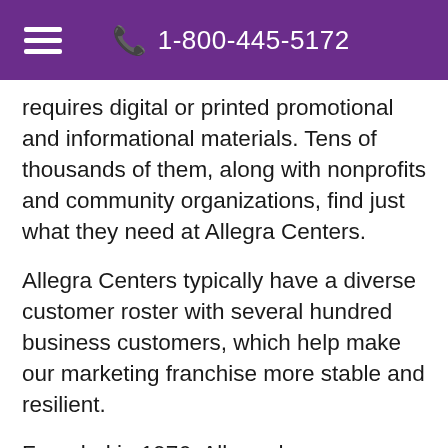☰  📞 1-800-445-5172
requires digital or printed promotional and informational materials. Tens of thousands of them, along with nonprofits and community organizations, find just what they need at Allegra Centers.
Allegra Centers typically have a diverse customer roster with several hundred business customers, which help make our marketing franchise more stable and resilient.
Founded in 1976, Allegra has a proven 45-year history in the stable $178 billion North American print and marketing services industry. One of the advantages of franchising is that